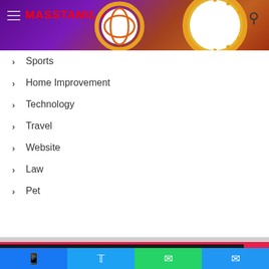MASSTAMILAN
Sports
Home Improvement
Technology
Travel
Website
Law
Pet
Masstamilan.biz © Copyright 2022. All Rights Reserved. Powered By